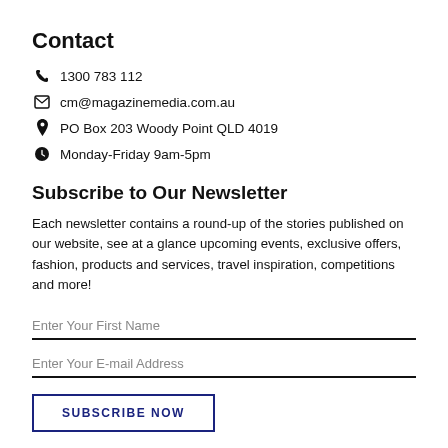Contact
1300 783 112
cm@magazinemedia.com.au
PO Box 203 Woody Point QLD 4019
Monday-Friday 9am-5pm
Subscribe to Our Newsletter
Each newsletter contains a round-up of the stories published on our website, see at a glance upcoming events, exclusive offers, fashion, products and services, travel inspiration, competitions and more!
Enter Your First Name
Enter Your E-mail Address
SUBSCRIBE NOW